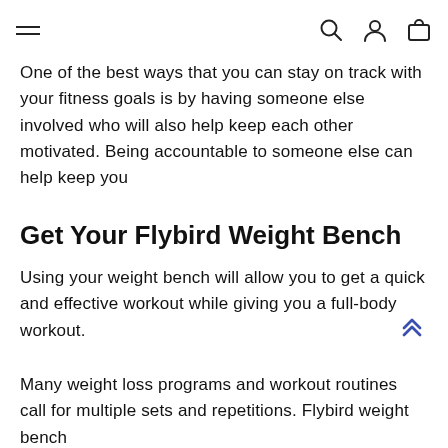Navigation header with hamburger menu, search, account, and cart icons
One of the best ways that you can stay on track with your fitness goals is by having someone else involved who will also help keep each other motivated. Being accountable to someone else can help keep you
Get Your Flybird Weight Bench
Using your weight bench will allow you to get a quick and effective workout while giving you a full-body workout.
Many weight loss programs and workout routines call for multiple sets and repetitions. Flybird weight bench